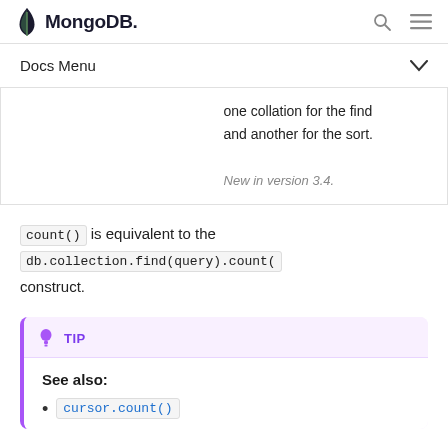MongoDB
Docs Menu
one collation for the find and another for the sort.
New in version 3.4.
count() is equivalent to the db.collection.find(query).count( construct.
TIP
See also:
cursor.count()